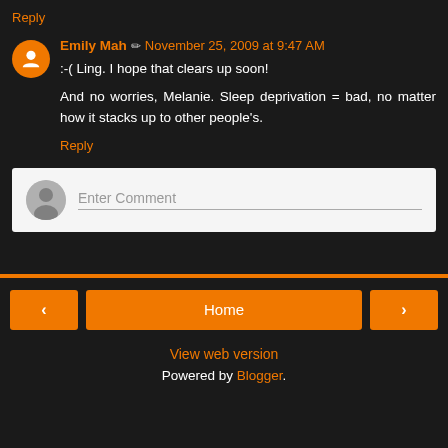Reply
Emily Mah ✏ November 25, 2009 at 9:47 AM
:-( Ling. I hope that clears up soon!

And no worries, Melanie. Sleep deprivation = bad, no matter how it stacks up to other people's.
Reply
Enter Comment
Home | View web version | Powered by Blogger.